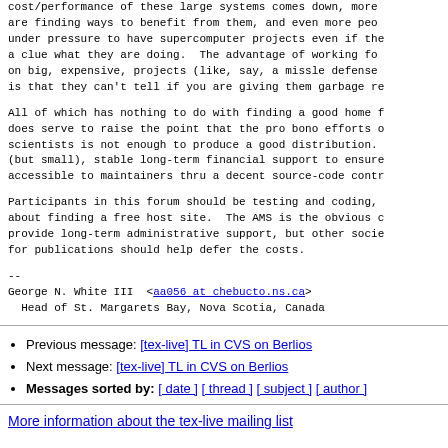cost/performance of these large systems comes down, more are finding ways to benefit from them, and even more people are under pressure to have supercomputer projects even if they don't have a clue what they are doing.  The advantage of working for sponsors on big, expensive, projects (like, say, a missle defense project) is that they can't tell if you are giving them garbage results.
All of which has nothing to do with finding a good home for TeX but does serve to raise the point that the pro bono efforts of computing scientists is not enough to produce a good distribution.  We need real (but small), stable long-term financial support to ensure that TeX is accessible to maintainers thru a decent source-code control system.
Participants in this forum should be testing and coding, not worrying about finding a free host site.  The AMS is the obvious choice to provide long-term administrative support, but other society revenues for publications should help defer the costs.
--
George N. White III  <aa056 at chebucto.ns.ca>
  Head of St. Margarets Bay, Nova Scotia, Canada
Previous message: [tex-live] TL in CVS on Berlios
Next message: [tex-live] TL in CVS on Berlios
Messages sorted by: [ date ] [ thread ] [ subject ] [ author ]
More information about the tex-live mailing list